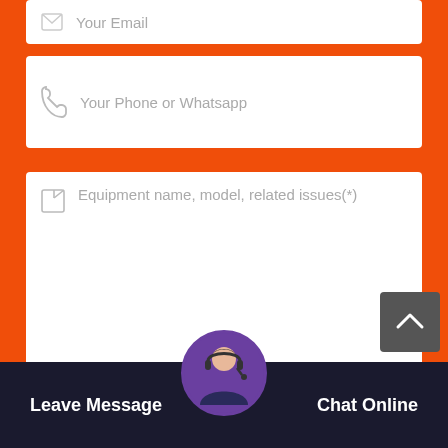[Figure (screenshot): Contact form with email field (partially visible at top), phone/Whatsapp field, large message textarea, and Send Now button. Orange background. Bottom navigation bar with Leave Message and Chat Online options and customer service avatar.]
Your Email
Your Phone or Whatsapp
Equipment name, model, related issues(*)
Send Now
Leave Message
Chat Online